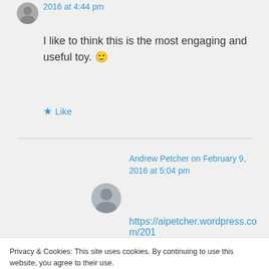2016 at 4:44 pm
I like to think this is the most engaging and useful toy. 🙂
★ Like
Andrew Petcher on February 9, 2016 at 5:04 pm
https://aipetcher.wordpress.com/201
Privacy & Cookies: This site uses cookies. By continuing to use this website, you agree to their use.
To find out more, including how to control cookies, see here: Cookie Policy
Close and accept